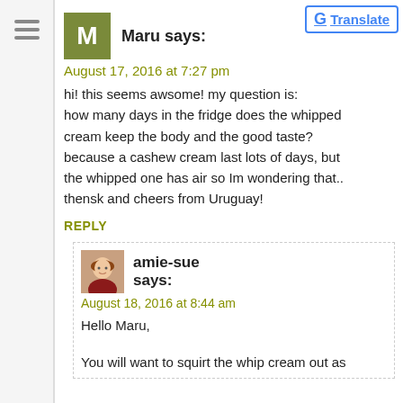[Figure (other): Hamburger menu icon with three horizontal lines]
[Figure (logo): Google Translate button with G logo and Translate text]
Maru says:
August 17, 2016 at 7:27 pm
hi! this seems awsome! my question is: how many days in the fridge does the whipped cream keep the body and the good taste? because a cashew cream last lots of days, but the whipped one has air so Im wondering that.. thensk and cheers from Uruguay!
REPLY
[Figure (photo): Small profile photo of amie-sue, a woman with reddish hair]
amie-sue says:
August 18, 2016 at 8:44 am
Hello Maru,
You will want to squirt the whip cream out as